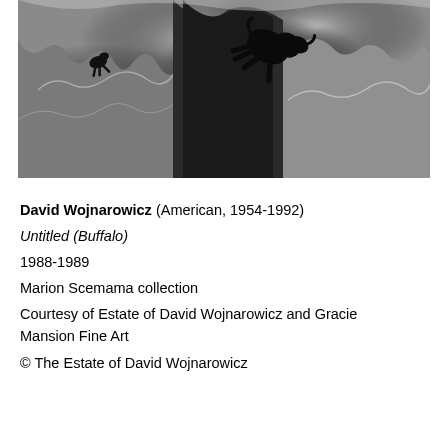[Figure (photo): Black and white photograph of a buffalo falling or leaping over a rocky cliff edge, viewed from above. The landscape shows rugged stone cliffs with dramatic shadows.]
David Wojnarowicz (American, 1954-1992)
Untitled (Buffalo)
1988-1989
Marion Scemama collection
Courtesy of Estate of David Wojnarowicz and Gracie Mansion Fine Art
© The Estate of David Wojnarowicz